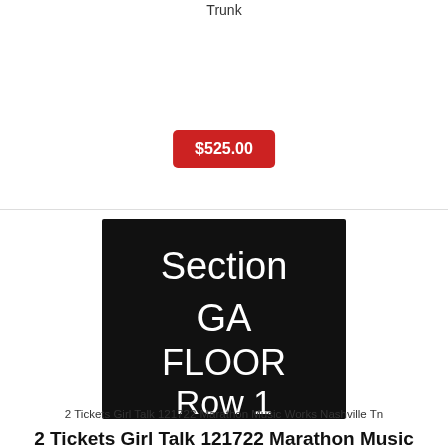Trunk
$525.00
[Figure (other): Black ticket stub image showing Section GA FLOOR Row 1 in white text on black background]
2 Tickets Girl Talk 121722 Marathon Music Works Nashville Tn
2 Tickets Girl Talk 121722 Marathon Music Works Nashville Tn